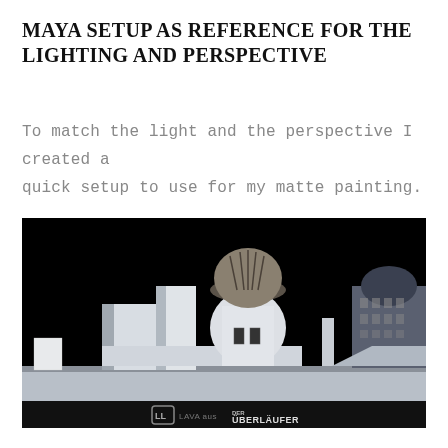MAYA SETUP AS REFERENCE FOR THE LIGHTING AND PERSPECTIVE
To match the light and the perspective I created a quick setup to use for my matte painting.
[Figure (illustration): A 3D Maya render on a black background showing simplified white geometric building models including rectangular blocks and a cylindrical tower with a textured dome. On the right side, a more detailed building with a classical dome is visible. The bottom of the image contains a dark bar with the LAVA aus logo and DER ÜBERLÄUFER text.]